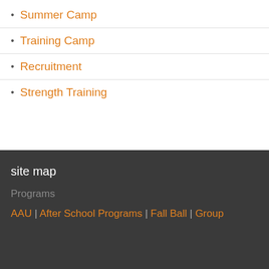Summer Camp
Training Camp
Recruitment
Strength Training
site map
Programs
AAU | After School Programs | Fall Ball | Group